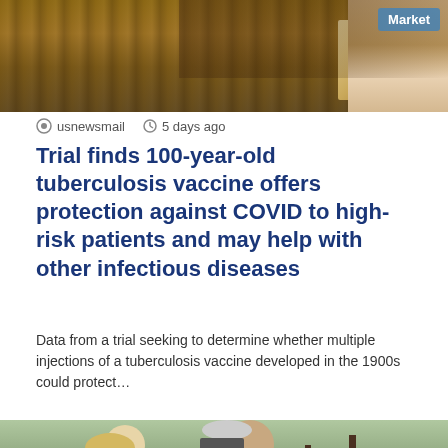[Figure (photo): Top portion of a news article page showing a partial image of what appears to be a market scene with wooden surfaces and a person visible on the right side, with a blue 'Market' badge in the top right corner]
usnewsmail   5 days ago
Trial finds 100-year-old tuberculosis vaccine offers protection against COVID to high-risk patients and may help with other infectious diseases
Data from a trial seeking to determine whether multiple injections of a tuberculosis vaccine developed in the 1900s could protect…
Read More »
[Figure (photo): Bottom portion of news page showing two people wearing black face masks standing near a black car outdoors with trees in background. A blue scroll-to-top arrow button is visible in the bottom right corner.]